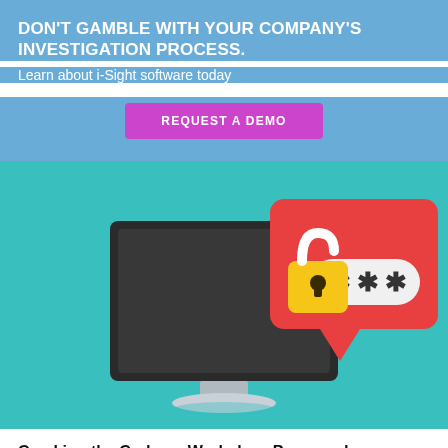DON'T GAMBLE WITH YOUR COMPANY'S INVESTIGATION PROCESS.
Learn about i-Sight software today
REQUEST A DEMO
[Figure (illustration): Illustration of a desktop computer monitor with a red speech bubble containing an open padlock icon (gold/yellow) and a password field showing three asterisks (***), on a teal background]
Cracking the Code on Workplace Password Protection
Article